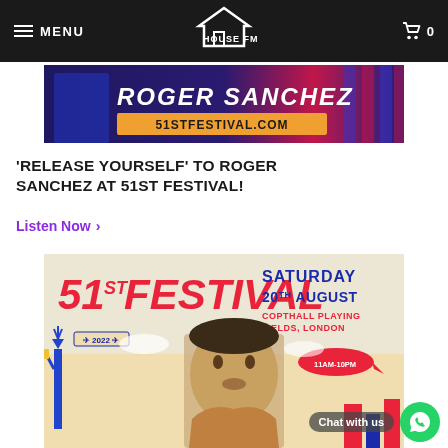MENU | HOUSE FM | 0
[Figure (illustration): Roger Sanchez promotional banner for 51stfestival.com with artistic blue and red graphic design]
'RELEASE YOURSELF' TO ROGER SANCHEZ AT 51ST FESTIVAL!
Listen Now >
[Figure (photo): 51st Festival event poster showing Saturday 20th August, Copthall Playing Fields, London, 11am-10pm, with photo of Roger Sanchez and illustrated Statue of Liberty, airplane, and blimp graphics]